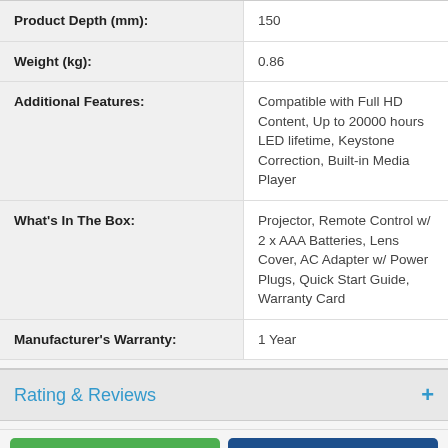| Attribute | Value |
| --- | --- |
| Product Depth (mm): | 150 |
| Weight (kg): | 0.86 |
| Additional Features: | Compatible with Full HD Content, Up to 20000 hours LED lifetime, Keystone Correction, Built-in Media Player |
| What's In The Box: | Projector, Remote Control w/ 2 x AAA Batteries, Lens Cover, AC Adapter w/ Power Plugs, Quick Start Guide, Warranty Card |
| Manufacturer's Warranty: | 1 Year |
Rating & Reviews
BUY NOW
^ BACK TO TOP